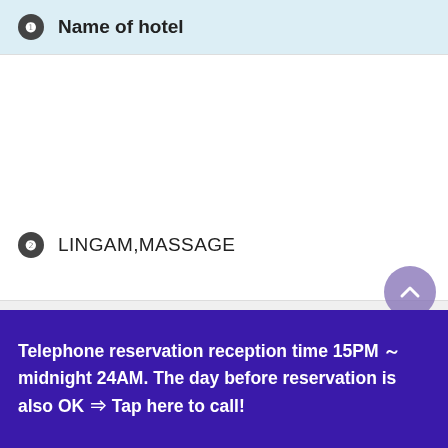1 Name of hotel
2 LINGAM,MASSAGE
7 Areas
★NEO-TANTRA TOKYO provides an outcall rejuvenated massage services in central Tokyo.Our working areas is within「Yamanote line」
Telephone reservation reception time 15PM ～ midnight 24AM. The day before reservation is also OK ⇒ Tap here to call!